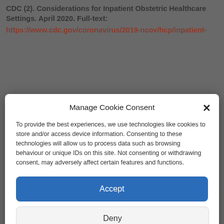CDC (2). Considerations for Inpatient Obstetric Healthcare Settings. April 2020. Full-text:
https://www.cdc.gov/coronavirus/2019-ncov/hcp/inpatient-
Manage Cookie Consent
To provide the best experiences, we use technologies like cookies to store and/or access device information. Consenting to these technologies will allow us to process data such as browsing behaviour or unique IDs on this site. Not consenting or withdrawing consent, may adversely affect certain features and functions.
Accept
Deny
View preferences
Cookie Policy   Privacy Policy